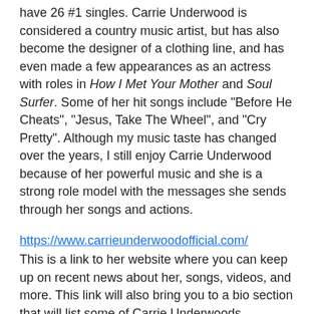have 26 #1 singles. Carrie Underwood is considered a country music artist, but has also become the designer of a clothing line, and has even made a few appearances as an actress with roles in How I Met Your Mother and Soul Surfer. Some of her hit songs include "Before He Cheats", "Jesus, Take The Wheel", and "Cry Pretty". Although my music taste has changed over the years, I still enjoy Carrie Underwood because of her powerful music and she is a strong role model with the messages she sends through her songs and actions.
https://www.carrieunderwoodofficial.com/
This is a link to her website where you can keep up on recent news about her, songs, videos, and more. This link will also bring you to a bio section that will list some of Carrie Underwoods accomplishments and talks about other projects she has been involved in.
https://www.looktothestars.org/celebrity/carrie-underwood
This is a list of charities and foundations Carrie Underwood has worked with over the years, this link also talks about other ways she has given back to the community and those